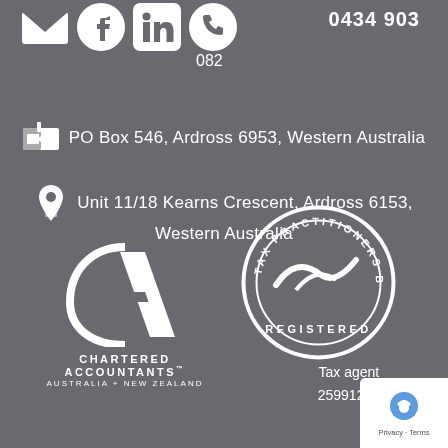[Figure (infographic): Row of social/contact icons: mail, Facebook, LinkedIn, phone; phone number 0434 903 082 displayed to the right]
PO Box 546, Ardross 6953, Western Australia
Unit 11/18 Kearns Crescent, Ardross 6153, Western Australia
[Figure (logo): Chartered Accountants Australia + New Zealand logo with CA monogram]
[Figure (logo): Tax Practitioners Board Registered circular seal]
Tax agent 25991208
[Figure (logo): Google Privacy & Terms reCAPTCHA badge]